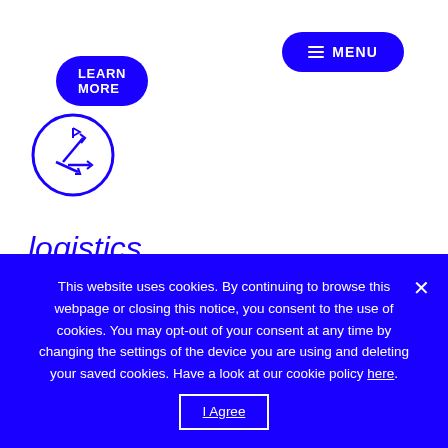LEARN MORE
≡ MENU
[Figure (logo): Circular logistics icon with arrows pointing in multiple directions, blue outline]
logistics
Estonia is the most effective supply chain hub for the Nordic, Baltic and northwest Russian regions thanks to its strategic location, modern infrastructure, multi-modal capabilities and
This website uses cookies. By continuing to browse this webpage or closing this notice, you consent to the use of cookies. You may opt-out of your consent at any time by changing the settings of the device you are using and deleting your saved cookies. Have a look at our cookie policy here. I Agree